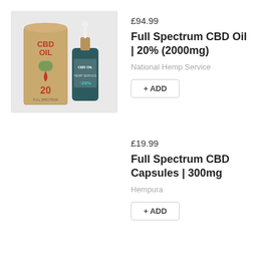[Figure (photo): Product photo of CBD Oil box and dropper bottle from National Hemp Service, showing '20%' label on a kraft paper box and dark bottle with dropper cap]
£94.99
Full Spectrum CBD Oil | 20% (2000mg)
National Hemp Service
+ ADD
£19.99
Full Spectrum CBD Capsules | 300mg
Hempura
+ ADD